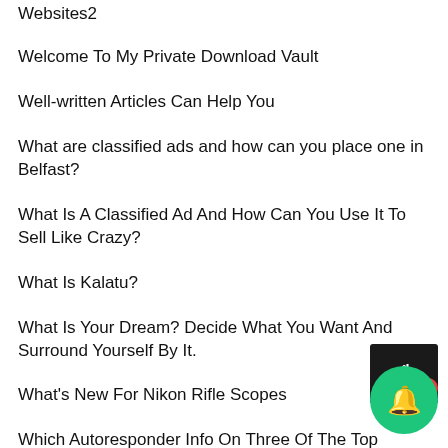Websites2
Welcome To My Private Download Vault
Well-written Articles Can Help You
What are classified ads and how can you place one in Belfast?
What Is A Classified Ad And How Can You Use It To Sell Like Crazy?
What Is Kalatu?
What Is Your Dream? Decide What You Want And Surround Yourself By It.
What's New For Nikon Rifle Scopes
Which Autoresponder Info On Three Of The Top